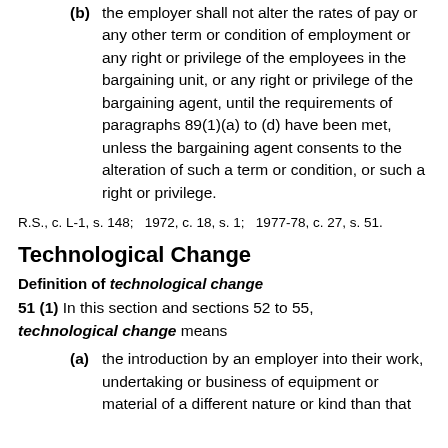(b) the employer shall not alter the rates of pay or any other term or condition of employment or any right or privilege of the employees in the bargaining unit, or any right or privilege of the bargaining agent, until the requirements of paragraphs 89(1)(a) to (d) have been met, unless the bargaining agent consents to the alteration of such a term or condition, or such a right or privilege.
R.S., c. L-1, s. 148;   1972, c. 18, s. 1;   1977-78, c. 27, s. 51.
Technological Change
Definition of technological change
51 (1) In this section and sections 52 to 55, technological change means
(a) the introduction by an employer into their work, undertaking or business of equipment or material of a different nature or kind than that